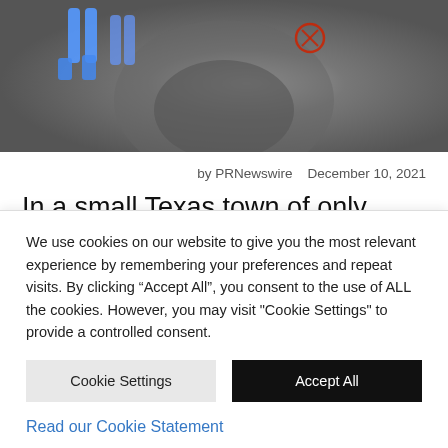[Figure (photo): Aerial or overhead grayscale photograph showing mining or industrial equipment, with blue-highlighted figures/legs visible at top left and red markings near center-top.]
by PRNewswire   December 10, 2021
In a small Texas town of only 5,600 people, a territorial battle is being waged over what is likely set to be the Bitcoin (BTC) mining capital
We use cookies on our website to give you the most relevant experience by remembering your preferences and repeat visits. By clicking “Accept All”, you consent to the use of ALL the cookies. However, you may visit "Cookie Settings" to provide a controlled consent.
Cookie Settings
Accept All
Read our Cookie Statement